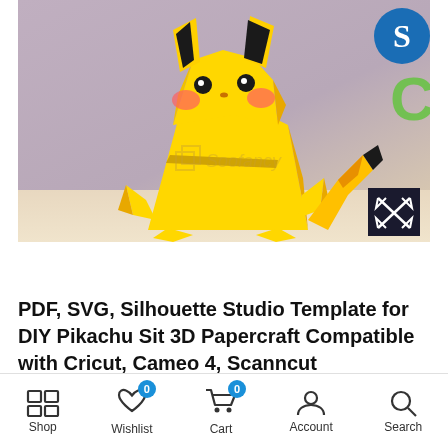[Figure (photo): Low-poly yellow Pikachu sitting figure (papercraft/3D render) on a light purple/beige background. Silhouette Studio logo (blue circle with 'S') in top right, green Cricut logo below it, and a gold watermark with interlocking squares and text 'Soofancy' overlaid on the image. A dark expand button with X arrows is in the bottom right corner.]
PDF, SVG, Silhouette Studio Template for DIY Pikachu Sit 3D Papercraft Compatible with Cricut, Cameo 4, Scanncut
Shop  Wishlist  Cart  Account  Search